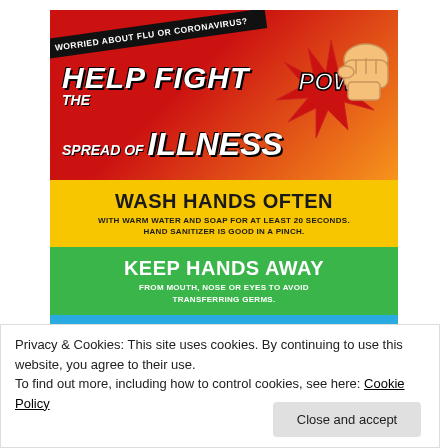[Figure (infographic): Health infographic poster about fighting flu and coronavirus. Top section red-to-orange with diagonal 'WORRIED ABOUT FLU OR CORONAVIRUS?' banner, 'HELP FIGHT THE SPREAD OF ILLNESS' title with POW fist graphic. Yellow section: WASH HANDS OFTEN with warm water and soap for at least 20 seconds. Hand sanitizer is good in a pinch. Green section: KEEP HANDS AWAY from mouth, nose or eyes to avoid transferring germs. Blue section: CLEAN AND DISINFECT frequently used surfaces like counters, light...]
Privacy & Cookies: This site uses cookies. By continuing to use this website, you agree to their use.
To find out more, including how to control cookies, see here: Cookie Policy